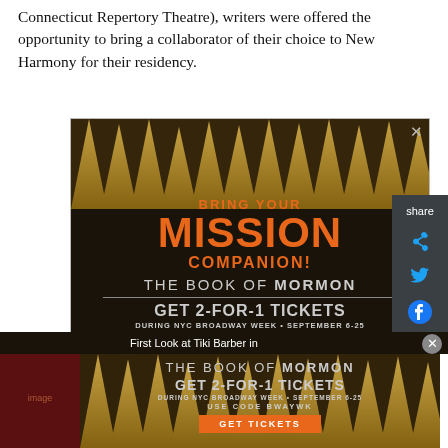Connecticut Repertory Theatre), writers were offered the opportunity to bring a collaborator of their choice to New Harmony for their residency.
[Figure (infographic): Advertisement for The Book of Mormon musical. Gold spike/crown decorative background at top. Text reads: BRING YOUR MISSION COMPANION! THE BOOK OF MORMON. GET 2-FOR-1 TICKETS DURING NYC BROADWAY WEEK • SEPTEMBER 6-25 USE CODE BWAYWK. GET TICKETS button. Close X button in top right.]
[Figure (infographic): Bottom sticky advertisement for The Book of Mormon. Text reads: THE BOOK OF MORMON. GET 2-FOR-1 TICKETS DURING NYC BROADWAY WEEK • SEPTEMBER 6-25 USE CODE BWAYWK. GET TICKETS button. First Look at Tiki Barber in text appears in dark bar above. Close circle button on right.]